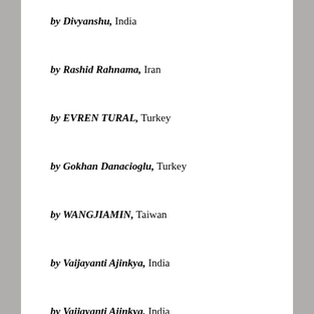by Divyanshu, India
by Rashid Rahnama, Iran
by EVREN TURAL, Turkey
by Gokhan Danacioglu, Turkey
by WANGJIAMIN, Taiwan
by Vaijayanti Ajinkya, India
by Vaijayanti Ajinkya, India